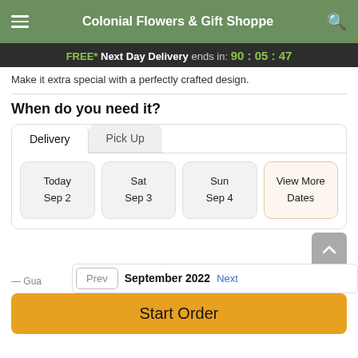Colonial Flowers & Gift Shoppe
FREE* Next Day Delivery ends in: 90:05:47
Make it extra special with a perfectly crafted design.
When do you need it?
Delivery | Pick Up
Today Sep 2 | Sat Sep 3 | Sun Sep 4 | View More Dates
Prev  September 2022  Next
Gua—
Start Order